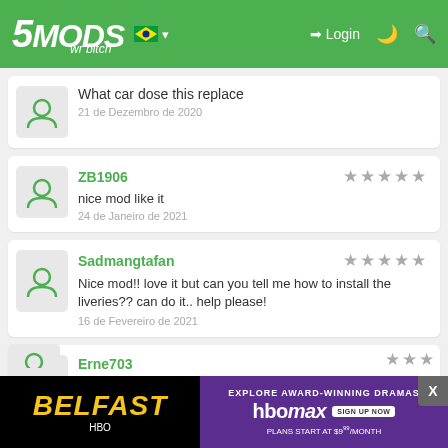5MODS | Login
What car dose this replace
21 de Dezembro de 2020
ZB1906 - nice mod like it - 24 de Janeiro de 2021
Sadmangtafan - Nice mod!! love it but can you tell me how to install the liveries?? can do it.. help please! - 16 de Fevereiro de 2021
Erne703 - Please make a mod of the 812 GTS - 13 de Março de 2021
[Figure (screenshot): Belfast HBO Max advertisement banner at bottom of page]